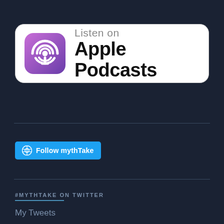[Figure (logo): Listen on Apple Podcasts badge with purple podcast icon and text]
[Figure (logo): Follow mythTake button with WordPress icon on cyan/blue background]
#MYTHTAKE ON TWITTER
My Tweets